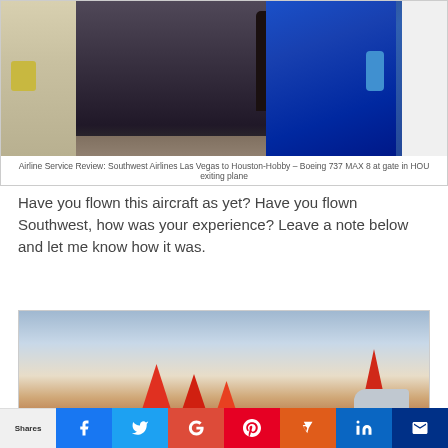[Figure (photo): Interior of Boeing 737 MAX 8 aircraft showing airplane door area with blue door panel and a person silhouette standing in the doorway]
Airline Service Review: Southwest Airlines Las Vegas to Houston-Hobby – Boeing 737 MAX 8 at gate in HOU exiting plane
Have you flown this aircraft as yet? Have you flown Southwest, how was your experience? Leave a note below and let me know how it was.
[Figure (photo): Exterior photo of Southwest Airlines aircraft tails at sunset/dusk at an airport gate, showing the distinctive red and orange Southwest livery on multiple plane tails against a twilight sky]
Shares  [Facebook] [Twitter] [Google+] [Pinterest] [Flipboard] [LinkedIn] [Mail]